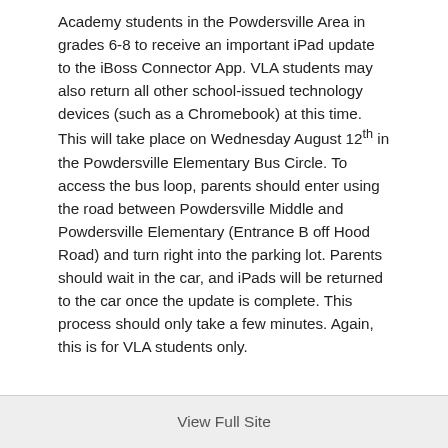Academy students in the Powdersville Area in grades 6-8 to receive an important iPad update to the iBoss Connector App. VLA students may also return all other school-issued technology devices (such as a Chromebook) at this time. This will take place on Wednesday August 12th in the Powdersville Elementary Bus Circle. To access the bus loop, parents should enter using the road between Powdersville Middle and Powdersville Elementary (Entrance B off Hood Road) and turn right into the parking lot. Parents should wait in the car, and iPads will be returned to the car once the update is complete. This process should only take a few minutes. Again, this is for VLA students only.
View Full Site